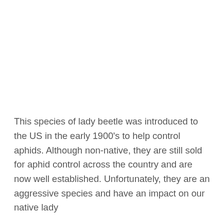This species of lady beetle was introduced to the US in the early 1900's to help control aphids. Although non-native, they are still sold for aphid control across the country and are now well established. Unfortunately, they are an aggressive species and have an impact on our native lady